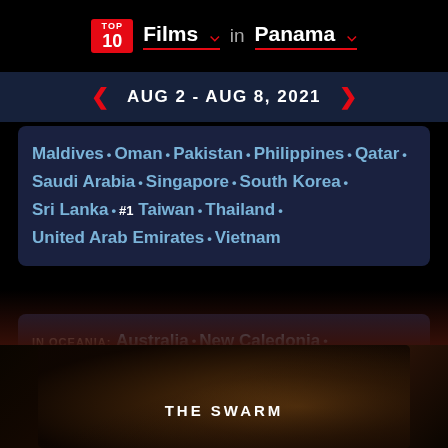TOP 10 Films in Panama — AUG 2 - AUG 8, 2021
Maldives · Oman · Pakistan · Philippines · Qatar · Saudi Arabia · Singapore · South Korea · Sri Lanka · #1 Taiwan · Thailand · United Arab Emirates · Vietnam
IN OCEANIA: Australia · New Caledonia · New Zealand
[Figure (photo): Dark moody image for The Swarm film, showing dark organic textures in brown and black tones]
THE SWARM